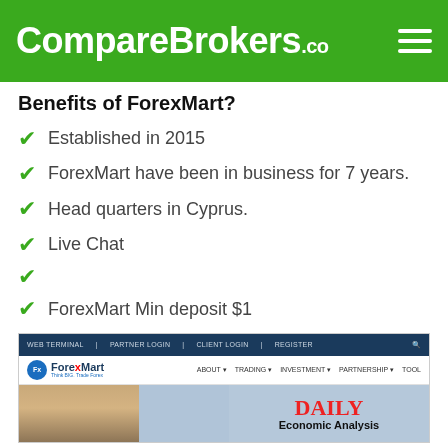CompareBrokers.co
Benefits of ForexMart?
Established in 2015
ForexMart have been in business for 7 years.
Head quarters in Cyprus.
Live Chat
ForexMart Min deposit $1
[Figure (screenshot): Screenshot of the ForexMart website showing navigation bar with WEB TERMINAL, PARTNER LOGIN, CLIENT LOGIN, REGISTER links, ForexMart logo, navigation menu with ABOUT, TRADING, INVESTMENT, PARTNERSHIP, TOOL, and a hero image of a woman with 'DAILY Economic Analysis' text overlay.]